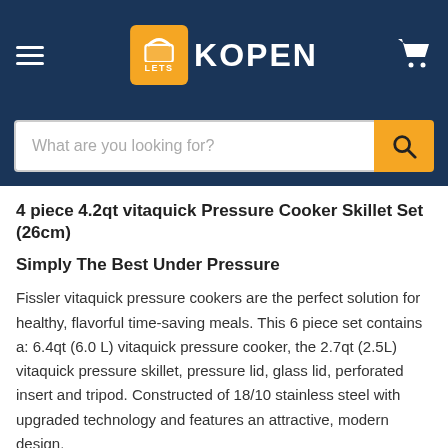LETS KOPEN
4 piece 4.2qt vitaquick Pressure Cooker Skillet Set (26cm)
Simply The Best Under Pressure
Fissler vitaquick pressure cookers are the perfect solution for healthy, flavorful time-saving meals. This 6 piece set contains a: 6.4qt (6.0 L) vitaquick pressure cooker, the 2.7qt (2.5L) vitaquick pressure skillet, pressure lid, glass lid, perforated insert and tripod. Constructed of 18/10 stainless steel with upgraded technology and features an attractive, modern design.
vitaquick has been tested by MET to UL standards, ensuring a quality product with multiple, patented safety features. This